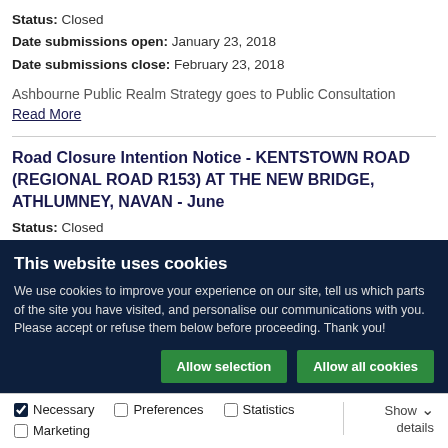Status: Closed
Date submissions open: January 23, 2018
Date submissions close: February 23, 2018
Ashbourne Public Realm Strategy goes to Public Consultation
Read More
Road Closure Intention Notice - KENTSTOWN ROAD (REGIONAL ROAD R153) AT THE NEW BRIDGE, ATHLUMNEY, NAVAN - June
Status: Closed
Date submissions open: April 10, 2018
This website uses cookies
We use cookies to improve your experience on our site, tell us which parts of the site you have visited, and personalise our communications with you. Please accept or refuse them below before proceeding. Thank you!
Allow selection | Allow all cookies
Necessary | Preferences | Statistics | Marketing | Show details